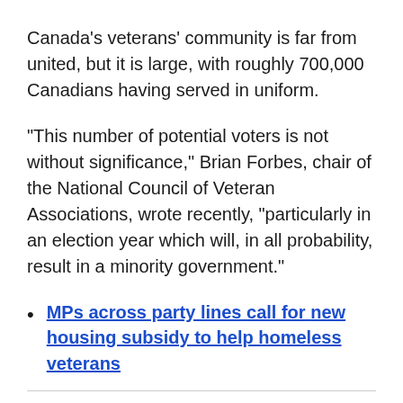Canada's veterans' community is far from united, but it is large, with roughly 700,000 Canadians having served in uniform.
"This number of potential voters is not without significance," Brian Forbes, chair of the National Council of Veteran Associations, wrote recently, "particularly in an election year which will, in all probability, result in a minority government."
MPs across party lines call for new housing subsidy to help homeless veterans
Vets watchdog troubled by 'lack of trust' in his office, asks for mandate review
Both the Conservatives and Liberals have made